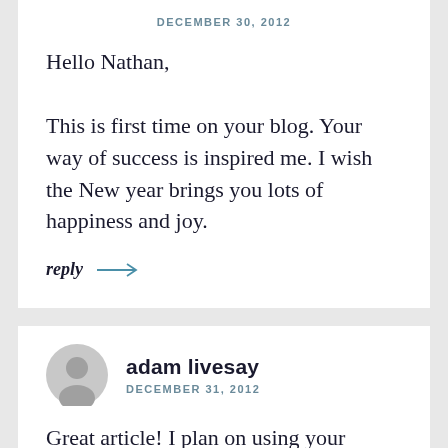DECEMBER 30, 2012
Hello Nathan,

This is first time on your blog. Your way of success is inspired me. I wish the New year brings you lots of happiness and joy.
reply →
adam livesay
DECEMBER 31, 2012
Great article! I plan on using your